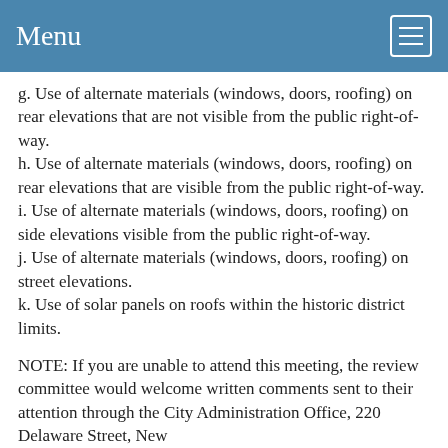Menu
g. Use of alternate materials (windows, doors, roofing) on rear elevations that are not visible from the public right-of-way.
h. Use of alternate materials (windows, doors, roofing) on rear elevations that are visible from the public right-of-way.
i. Use of alternate materials (windows, doors, roofing) on side elevations visible from the public right-of-way.
j. Use of alternate materials (windows, doors, roofing) on street elevations.
k. Use of solar panels on roofs within the historic district limits.
NOTE: If you are unable to attend this meeting, the review committee would welcome written comments sent to their attention through the City Administration Office, 220 Delaware Street, New